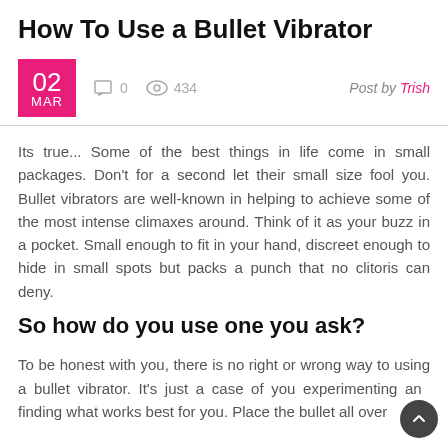How To Use a Bullet Vibrator
02 MAR  0  434  Post by Trish
Its true... Some of the best things in life come in small packages. Don't for a second let their small size fool you. Bullet vibrators are well-known in helping to achieve some of the most intense climaxes around. Think of it as your buzz in a pocket. Small enough to fit in your hand, discreet enough to hide in small spots but packs a punch that no clitoris can deny.
So how do you use one you ask?
To be honest with you, there is no right or wrong way to using a bullet vibrator. It's just a case of you experimenting and finding what works best for you. Place the bullet all over